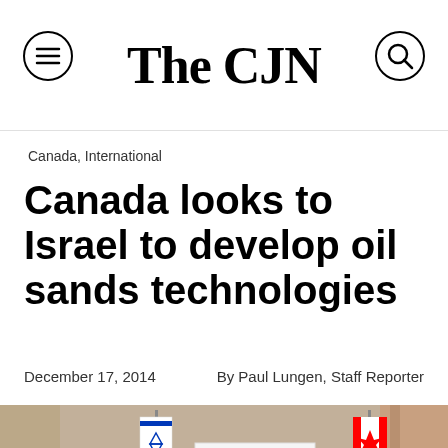The CJN
Canada, International
Canada looks to Israel to develop oil sands technologies
December 17, 2014   By Paul Lungen, Staff Reporter
[Figure (photo): Four men standing together in front of Israeli and Canadian flags and a banner/sign, likely at an official signing or meeting event.]